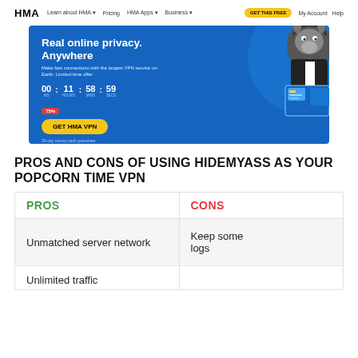[Figure (screenshot): HMA (HideMyAss) VPN website navigation bar with logo, menu links, and GET THIS FREE button]
[Figure (screenshot): HMA VPN hero banner with blue background, Real online privacy. Anywhere headline, countdown timer 00:11:58:59, 75% discount badge, GET HMA VPN button, donkey mascot, and device screenshots]
PROS AND CONS OF USING HIDEMYASS AS YOUR POPCORN TIME VPN
| PROS | CONS |
| --- | --- |
| Unmatched server network | Keep some logs |
| Unlimited traffic |  |